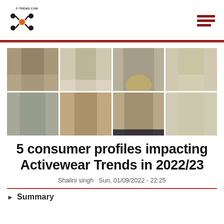F-TREND.COM logo and navigation header
[Figure (photo): Grid of 7 fashion photos showing men in neutral-toned activewear/casual outfits in beige, cream, and grey colors]
5 consumer profiles impacting Activewear Trends in 2022/23
Shalini singh  Sun, 01/09/2022 - 22:25
Summary